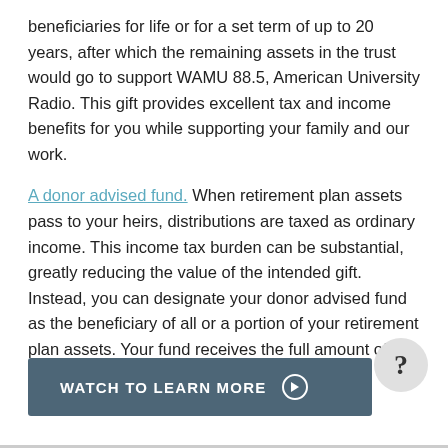beneficiaries for life or for a set term of up to 20 years, after which the remaining assets in the trust would go to support WAMU 88.5, American University Radio. This gift provides excellent tax and income benefits for you while supporting your family and our work.
A donor advised fund. When retirement plan assets pass to your heirs, distributions are taxed as ordinary income. This income tax burden can be substantial, greatly reducing the value of the intended gift. Instead, you can designate your donor advised fund as the beneficiary of all or a portion of your retirement plan assets. Your fund receives the full amount of the gift and bypasses any federal taxes.
WATCH TO LEARN MORE